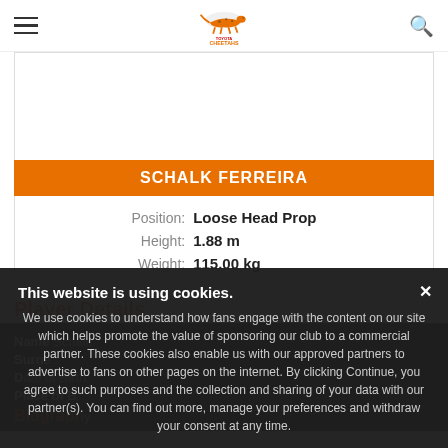Toyota Cheetahs website header with hamburger menu, logo, and search icon
[Figure (illustration): Player image placeholder (white box)]
SCHALK FERREIRA
| Field | Value |
| --- | --- |
| Position: | Loose Head Prop |
| Height: | 1.88 m |
| Weight: | 115.00 kg |
Player Details
Name: Schalk
Surname: (partially visible)
Date of Birth: (partially visible)
Place of Birth: (partially visible)
Biography
This website is using cookies. We use cookies to understand how fans engage with the content on our site which helps promote the value of sponsoring our club to a commercial partner. These cookies also enable us with our approved partners to advertise to fans on other pages on the internet. By clicking Continue, you agree to such purposes and the collection and sharing of your data with our partner(s). You can find out more, manage your preferences and withdraw your consent at any time. Continue | Learn more